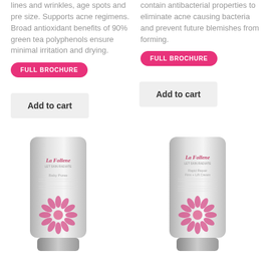lines and wrinkles, age spots and pre size. Supports acne regimens. Broad antioxidant benefits of 90% green tea polyphenols ensure minimal irritation and drying.
FULL BROCHURE
Add to cart
contain antibacterial properties to eliminate acne causing bacteria and prevent future blemishes from forming.
FULL BROCHURE
Add to cart
[Figure (photo): La Follene skincare product tube with pink floral design, silver packaging]
[Figure (photo): La Follene skincare product tube with pink floral design, silver packaging, second product variant]